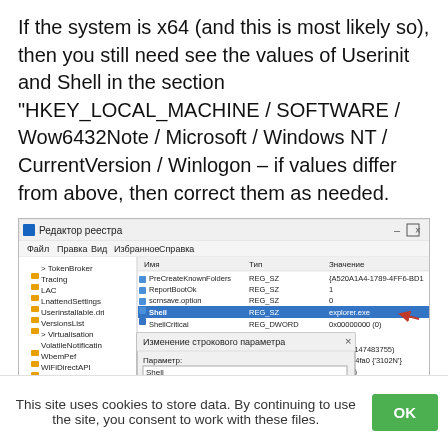If the system is x64 (and this is most likely so), then you still need see the values of Userinit and Shell in the section “HKEY_LOCAL_MACHINE / SOFTWARE / Wow6432Note / Microsoft / Windows NT / CurrentVersion / Winlogon – if values differ from above, then correct them as needed.
[Figure (screenshot): Windows Registry Editor screenshot showing Winlogon key with Shell value set to explorer.exe, and an edit string dialog open showing Shell parameter with value explorer.exe]
This site uses cookies to store data. By continuing to use the site, you consent to work with these files. OK